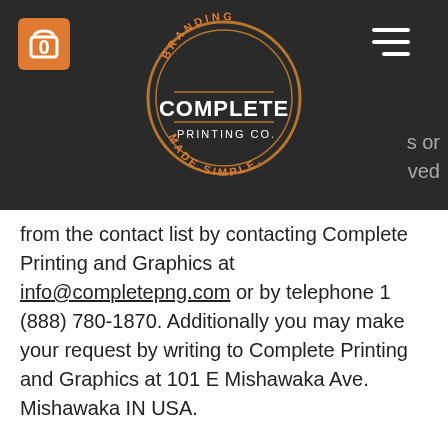[Figure (logo): Complete Printing Co. logo — circular badge with 'BRANDING COMPLETE PRINTING CO. MADE SIMPLE' text in dark background with orange/brown accents]
from the contact list by contacting Complete Printing and Graphics at info@completepng.com or by telephone 1 (888) 780-1870. Additionally you may make your request by writing to Complete Printing and Graphics at 101 E Mishawaka Ave. Mishawaka IN USA.
Personal Information is Not Released to Outside Parties
Any information that you provide to us via our website will be used for our purposes only. Your information will not be shared with other individuals or other companies. However, in some instances we may need to provide your name and delivery address to